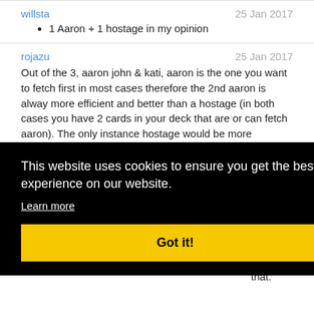willsta
25 Jan 2017
1 Aaron + 1 hostage in my opinion
rojazu
25 Jan 2017
Out of the 3, aaron john & kati, aaron is the one you want to fetch first in most cases therefore the 2nd aaron is alway more efficient and better than a hostage (in both cases you have 2 cards in your deck that are or can fetch aaron). The only instance hostage would be more desirable is when you installed aaron already and then you draw into mas/kati but
[Figure (screenshot): Cookie consent banner overlay with black background, text reading 'This website uses cookies to ensure you get the best experience on our website.' with a 'Learn more' link and a yellow 'Got it!' button.]
2017
aaron. that.